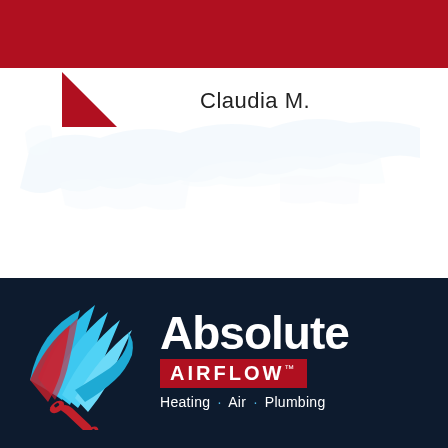[Figure (other): Dark red/crimson horizontal bar at top of page]
[Figure (other): Red downward-pointing triangle marker/pin icon on left side of white section]
Claudia M.
[Figure (other): Faint light blue USA map watermark in background of white section]
[Figure (logo): Absolute Airflow logo — stylized blue and red bird/wing with wrench on dark navy background, with text: Absolute AIRFLOW™ Heating · Air · Plumbing]